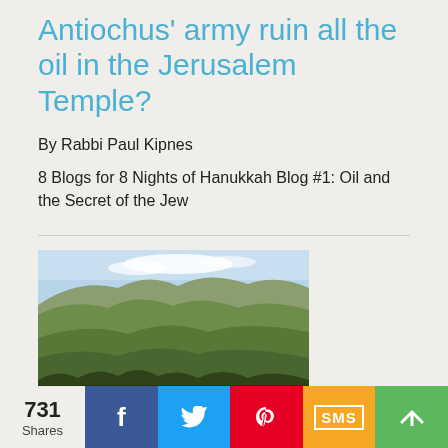Antiochus' army ruin all the oil in the Jerusalem Temple?
By Rabbi Paul Kipnes
8 Blogs for 8 Nights of Hanukkah Blog #1: Oil and the Secret of the Jew
[Figure (photo): Photograph of green rolling hills with trees in foreground under a partly cloudy sky]
731 Shares